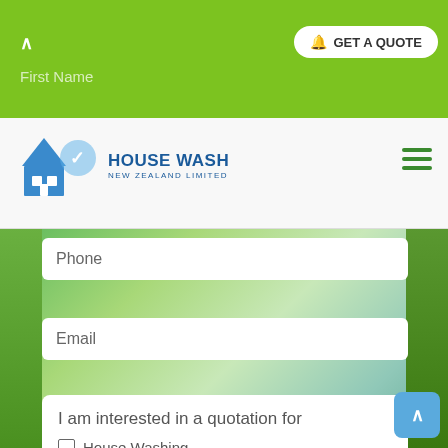[Figure (screenshot): Yellow and white diagonal warning stripe banner at top of page]
GET A QUOTE
First Name
[Figure (logo): House Wash New Zealand Limited logo with blue house and checkmark graphic]
Phone
Email
I am interested in a quotation for
House Washing
Building Washing
Roof Chemical Treatment
Roof Chemical Clean
Gutter Cleaning
Window Interior/ Exterior Glass Cleaning
Shower Cubicle Cleaning